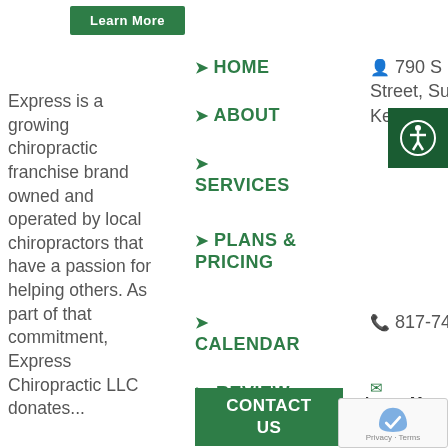[Figure (other): Green 'Learn More' button at the top left]
Express is a growing chiropractic franchise brand owned and operated by local chiropractors that have a passion for helping others. As part of that commitment, Express Chiropractic LLC donates...
> HOME
> ABOUT
> SERVICES
> PLANS & PRICING
> CALENDAR
> REVIEW US
> BLOG
[Figure (other): CONTACT US green button]
790 S Main Street, Suite 407, Keller TX 76248
817-741-4101
info@expressc...
Learn More About Us